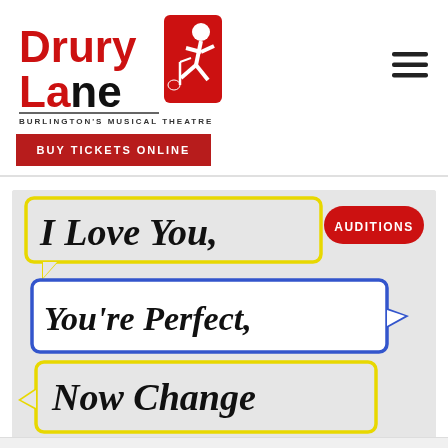[Figure (logo): Drury Lane Burlington's Musical Theatre logo with red text and musical note dancer silhouette]
BUY TICKETS ONLINE
[Figure (illustration): I Love You, You're Perfect, Now Change musical show banner with speech bubbles in yellow and blue borders. Red pill badge reading AUDITIONS.]